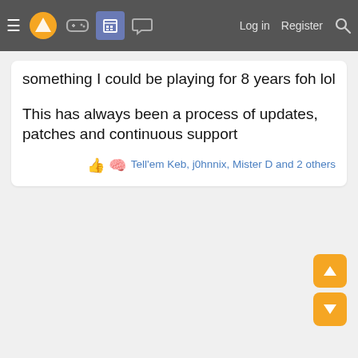≡ [logo] [gamepad] [forum] [chat] | Log in  Register [search]
something I could be playing for 8 years foh lol
This has always been a process of updates, patches and continuous support
Tell'em Keb, j0hnnix, Mister D and 2 others